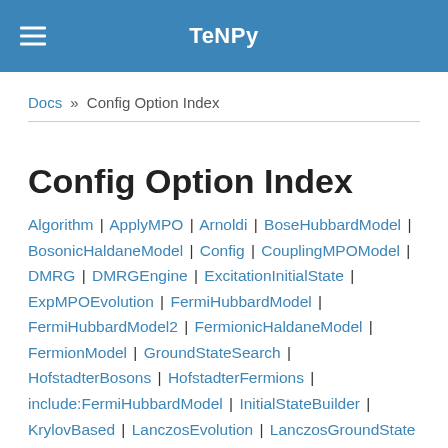TeNPy
Docs » Config Option Index
Config Option Index
Algorithm | ApplyMPO | Arnoldi | BoseHubbardModel | BosonicHaldaneModel | Config | CouplingMPOModel | DMRG | DMRGEngine | ExcitationInitialState | ExpMPOEvolution | FermiHubbardModel | FermiHubbardModel2 | FermionicHaldaneModel | FermionModel | GroundStateSearch | HofstadterBosons | HofstadterFermions | include:FermiHubbardModel | InitialStateBuilder | KrylovBased | LanczosEvolution | LanczosGroundState | log | Mixer | MPS_compress | OrthogonalExcitations | PurificationTEBD | RandomUnitaryEvolution | sequential | Simulation | SingleSiteDMRGEngine |